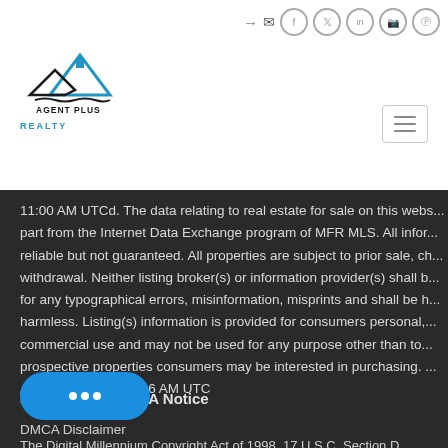[Figure (logo): Agent Plus Realty logo with mountain/house icon in blue]
11:00 AM UTCd. The data relating to real estate for sale on this webs... part from the Internet Data Exchange program of MFR MLS. All infor... reliable but not guaranteed. All properties are subject to prior sale, ch... withdrawal. Neither listing broker(s) or information provider(s) shall b... for any typographical errors, misinformation, misprints and shall be h... harmless. Listing(s) information is provided for consumers personal,... commercial use and may not be used for any purpose other than to... prospective properties consumers may be interested in purchasing. ... August 23, 2022 11:06 AM UTC
32. Required DMCA Notice
DMCA Disclaimer
The Digital Millennium Copyright Act of 1998, 17 U.S.C. Section DM...